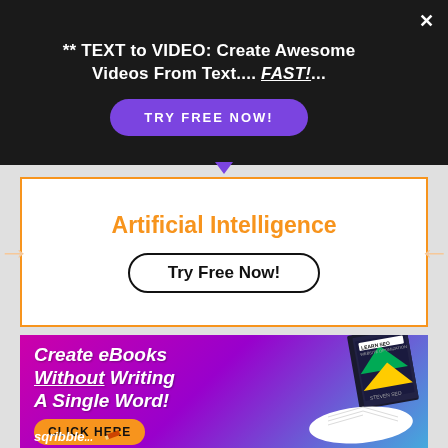** TEXT to VIDEO: Create Awesome Videos From Text.... FAST!...
TRY FREE NOW!
Artificial Intelligence
Try Free Now!
[Figure (infographic): eBook ad with magenta/purple/blue gradient background. Text: Create eBooks Without Writing A Single Word! with CLICK HERE button and a book image. Bottom text: sqribble]
Create eBooks Without Writing A Single Word!
CLICK HERE
sqribble